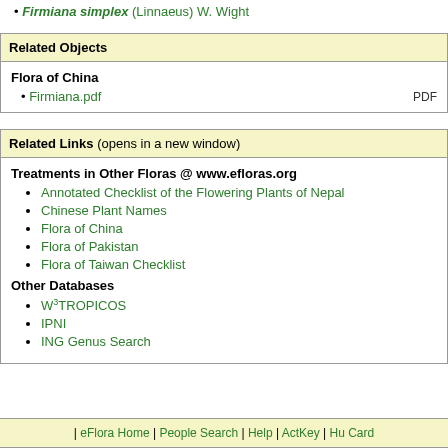Firmiana simplex (Linnaeus) W. Wight
Related Objects
Flora of China
Firmiana.pdf  PDF
Related Links (opens in a new window)
Treatments in Other Floras @ www.efloras.org
Annotated Checklist of the Flowering Plants of Nepal
Chinese Plant Names
Flora of China
Flora of Pakistan
Flora of Taiwan Checklist
Other Databases
W3TROPICOS
IPNI
ING Genus Search
| eFlora Home | People Search | Help | ActKey | Hu Card